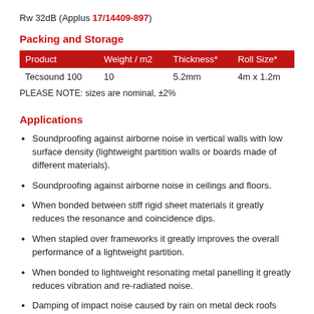Rw 32dB (Applus 17/14409-897)
Packing and Storage
| Product | Weight / m2 | Thickness* | Roll Size* |
| --- | --- | --- | --- |
| Tecsound 100 | 10 | 5.2mm | 4m x 1.2m |
PLEASE NOTE: sizes are nominal, ±2%
Applications
Soundproofing against airborne noise in vertical walls with low surface density (lightweight partition walls or boards made of different materials).
Soundproofing against airborne noise in ceilings and floors.
When bonded between stiff rigid sheet materials it greatly reduces the resonance and coincidence dips.
When stapled over frameworks it greatly improves the overall performance of a lightweight partition.
When bonded to lightweight resonating metal panelling it greatly reduces vibration and re-radiated noise.
Damping of impact noise caused by rain on metal deck roofs